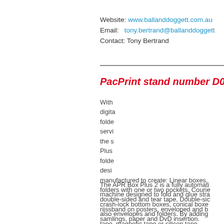Website: www.ballanddoggett.com.au
Email:   tony.bertrand@ballanddoggett
Contact: Tony Bertrand
PacPrint stand number D0
With digital folde servi the s Plus folde desi manufactured to create: Linear boxes, folders with one or two pockets, Courie double-sided and tear tape, Double-sic riissband on posters, enveloped and b samlings, paper and DvD insertion.
The APR Box Plus 2 is a fully automati machine designed to fold and glue stra crash-lock bottom boxes, conical boxe also envelopes and folders. By adding tape, magnetic tape or silicon tape...